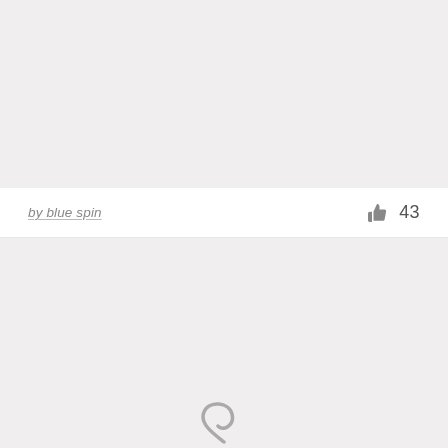[Figure (photo): Top image placeholder area with light gray background]
by blue spin   👍 43
[Figure (photo): Bottom image placeholder area with light gray background and partial swirl graphic visible at bottom center]